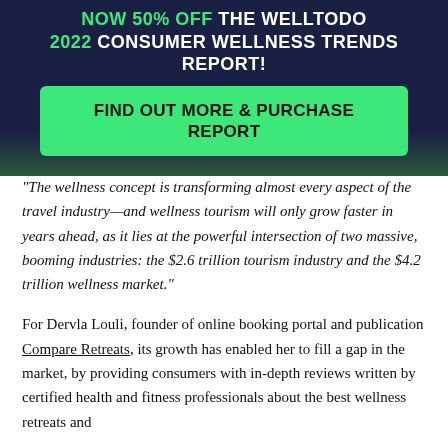NOW 50% OFF THE WELLTODO 2022 CONSUMER WELLNESS TRENDS REPORT!
FIND OUT MORE & PURCHASE REPORT
“The wellness concept is transforming almost every aspect of the travel industry—and wellness tourism will only grow faster in years ahead, as it lies at the powerful intersection of two massive, booming industries: the $2.6 trillion tourism industry and the $4.2 trillion wellness market.”
For Dervla Louli, founder of online booking portal and publication Compare Retreats, its growth has enabled her to fill a gap in the market, by providing consumers with in-depth reviews written by certified health and fitness professionals about the best wellness retreats and